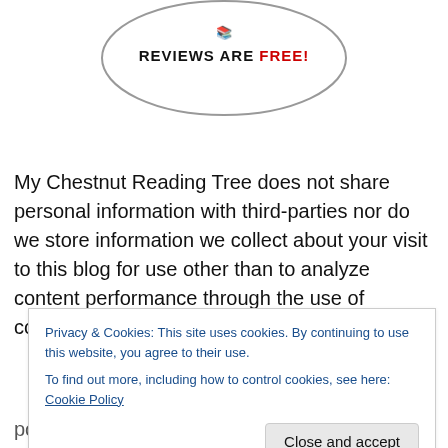[Figure (logo): Circular logo badge with text 'REVIEWS ARE FREE!' where FREE! is in red]
My Chestnut Reading Tree does not share personal information with third-parties nor do we store information we collect about your visit to this blog for use other than to analyze content performance through the use of cookies
Privacy & Cookies: This site uses cookies. By continuing to use this website, you agree to their use.
To find out more, including how to control cookies, see here: Cookie Policy
Close and accept
policy is subject to change without notice.